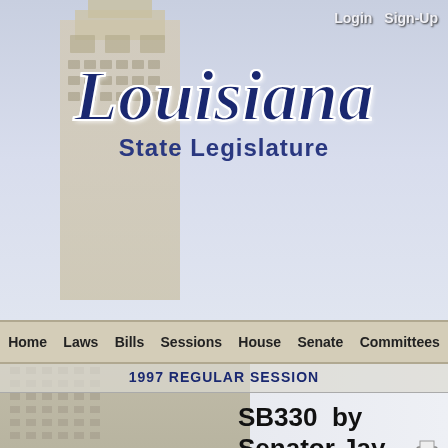[Figure (screenshot): Louisiana State Capitol building photograph as website header background, light blue-gray tones]
Login  Sign-Up
Louisiana State Legislature
Home  Laws  Bills  Sessions  House  Senate  Committees
1997 REGULAR SESSION
SB330 by Senator Jay Dardenne
CRIMINAL PROCEDURE:  Constitutional amendment to provide for rights of victims of crimes.
Current Status:  Became law without th